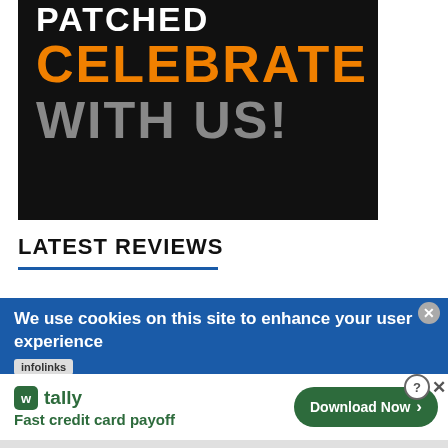[Figure (illustration): Promotional banner on black background. Top partially cropped white text, then large orange bold text 'CELEBRATE', then large gray bold text 'WITH US!']
LATEST REVIEWS
We use cookies on this site to enhance your user experience
infolinks
[Figure (other): Ad banner for Tally app: 'Fast credit card payoff' with a Download Now button]